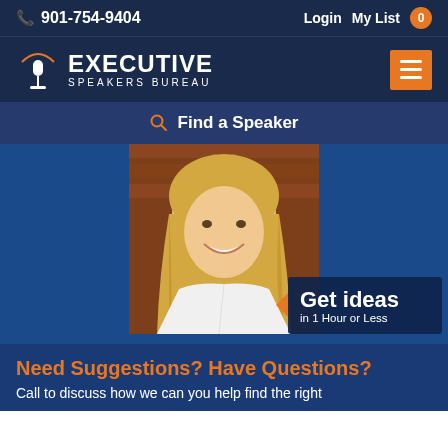901-754-9404   Login  My List 0
[Figure (logo): Executive Speakers Bureau logo with microphone icon on navy background]
Find a Speaker
[Figure (photo): Smiling blonde woman in white blazer and teal necklace, headshot photo]
Get ideas in 1 Hour or Less
Need Suggestions? Have Questions?
Call to discuss how we can you help find the right